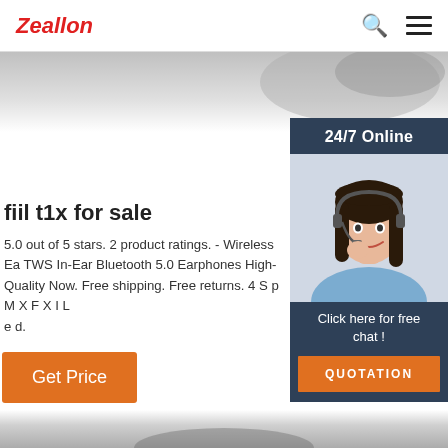Zeallon
[Figure (photo): Hero image area with product in background, partially visible at top]
[Figure (photo): 24/7 Online chat widget showing a smiling woman wearing a headset, with 'Click here for free chat!' text and QUOTATION button]
fiil t1x for sale
5.0 out of 5 stars. 2 product ratings. - Wireless Ea TWS In-Ear Bluetooth 5.0 Earphones High-Quality Now. Free shipping. Free returns. 4 S p M X F X I L e d.
Get Price
[Figure (photo): Bottom image area showing partial product image]